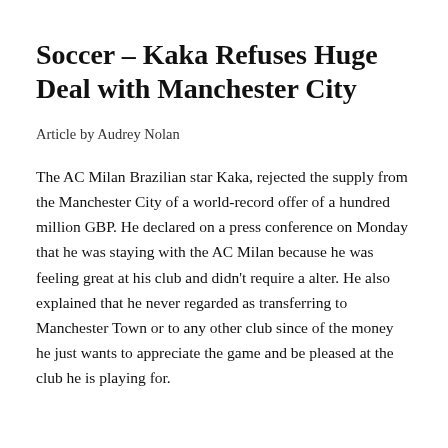Soccer – Kaka Refuses Huge Deal with Manchester City
Article by Audrey Nolan
The AC Milan Brazilian star Kaka, rejected the supply from the Manchester City of a world-record offer of a hundred million GBP. He declared on a press conference on Monday that he was staying with the AC Milan because he was feeling great at his club and didn't require a alter. He also explained that he never regarded as transferring to Manchester Town or to any other club since of the money he just wants to appreciate the game and be pleased at the club he is playing for.